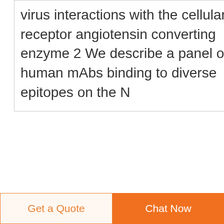virus interactions with the cellular receptor angiotensin converting enzyme 2 We describe a panel of human mAbs binding to diverse epitopes on the N
Related Posts
hot sale disposable infusion set with flow regulator Egypt
medical iv manual regulator Chad
face mask anesthetic transparent price in Cambodia
infusion set component for sale in India
Get a Quote  Chat Now